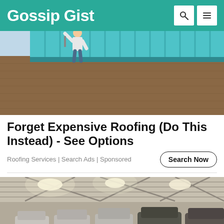Gossip Gist
[Figure (photo): Person in a yellow hat painting or working on a blue metal roof on a brick building]
Forget Expensive Roofing (Do This Instead) - See Options
Roofing Services | Search Ads | Sponsored
[Figure (photo): Interior of a large warehouse or hangar with multiple dusty SUVs and trucks parked in a row under steel beam ceiling with bright lights]